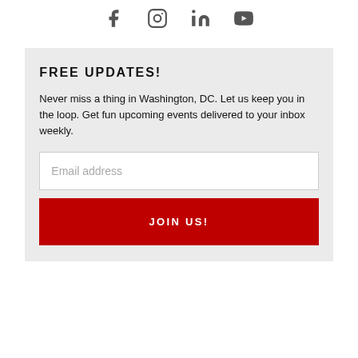[Figure (other): Social media icons: Facebook, Instagram, LinkedIn, YouTube]
FREE UPDATES!
Never miss a thing in Washington, DC. Let us keep you in the loop. Get fun upcoming events delivered to your inbox weekly.
Email address (input field placeholder)
JOIN US!